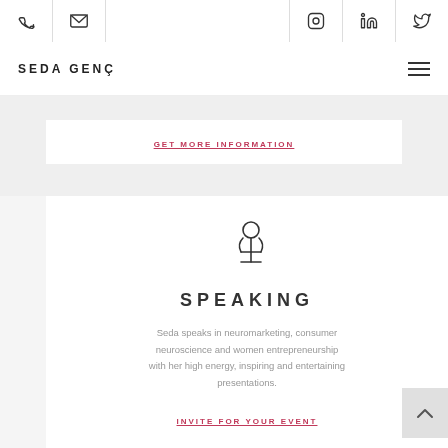SEDA GENÇ — website header with phone, email, Instagram, LinkedIn, Twitter icons
GET MORE INFORMATION
[Figure (illustration): Microphone icon — line drawing of a microphone on a stand]
SPEAKING
Seda speaks in neuromarketing, consumer neuroscience and women entrepreneurship with her high energy, inspiring and entertaining presentations.
INVITE FOR YOUR EVENT